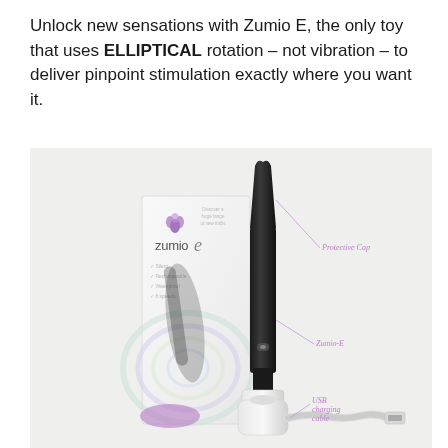Unlock new sensations with Zumio E, the only toy that uses ELLIPTICAL rotation – not vibration – to deliver pinpoint stimulation exactly where you want it.
[Figure (photo): Product photo of Zumio E device next to its retail box. The white box shows the Zumio E logo with swirl graphics. The black elongated device is shown standing upright in a white charging base. Labels point to: Protective Cup (top of device), Zumio-E (middle section), and USB charging cable (bottom/cable). A USB cable is shown at bottom right.]